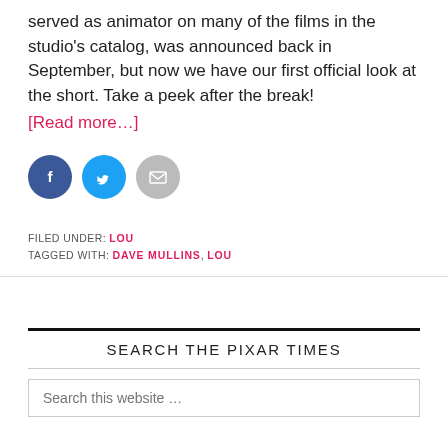served as animator on many of the films in the studio's catalog, was announced back in September, but now we have our first official look at the short. Take a peek after the break!
[Read more…]
[Figure (infographic): Three social sharing buttons: Facebook (dark blue circle), Twitter (light blue circle), Email (gray circle)]
FILED UNDER: LOU
TAGGED WITH: DAVE MULLINS, LOU
SEARCH THE PIXAR TIMES
Search this website …